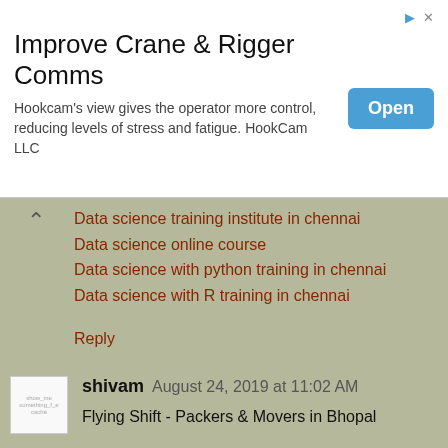[Figure (infographic): Advertisement banner for HookCam LLC with title 'Improve Crane & Rigger Comms', subtitle text, and Open button]
Data science training institute in chennai
Data science online course
Data science with python training in chennai
Data science with R training in chennai
Reply
shivam   August 24, 2019 at 11:02 AM
Flying Shift - Packers & Movers in Bhopal
Reply
rutmanaish   September 3, 2019 at 12:46 PM
Nice blog was really feeling good to read it. Thanks for this information.